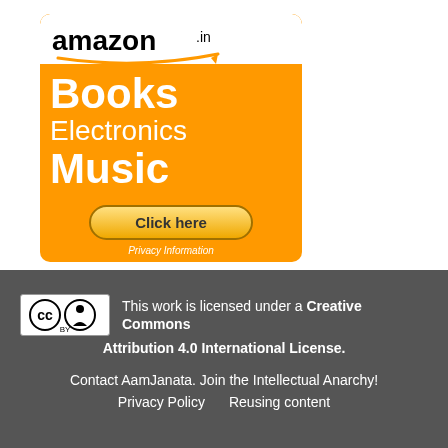[Figure (advertisement): Amazon.in advertisement banner with orange background showing Books, Electronics, Music categories with a Click here button and Privacy Information link]
This work is licensed under a Creative Commons Attribution 4.0 International License.
Contact AamJanata. Join the Intellectual Anarchy!
Privacy Policy    Reusing content